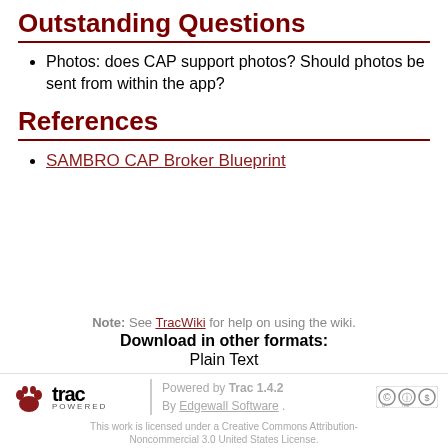Outstanding Questions
Photos: does CAP support photos? Should photos be sent from within the app?
References
SAMBRO CAP Broker Blueprint
Note: See TracWiki for help on using the wiki.
Download in other formats:
Plain Text
Powered by Trac 1.4.2 By Edgewall Software . This work is licensed under a Creative Commons Attribution-Noncommercial 3.0 United States License.